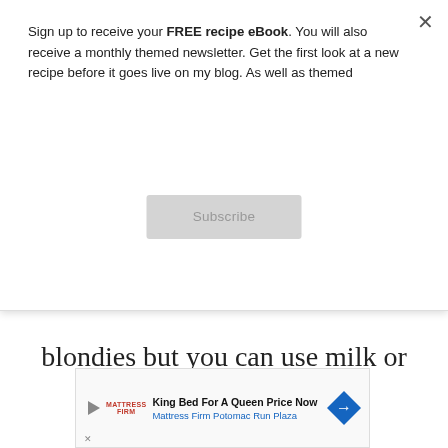Sign up to receive your FREE recipe eBook. You will also receive a monthly themed newsletter. Get the first look at a new recipe before it goes live on my blog. As well as themed
Subscribe
blondies but you can use milk or dark if you prefer.
Add your chocolate to a heatproof bowl and melt in the microwave in 20 second bursts, stirring in between to ensure it doesn't catch.
[Figure (other): Advertisement banner for Mattress Firm Potomac Run Plaza: King Bed For A Queen Price Now]